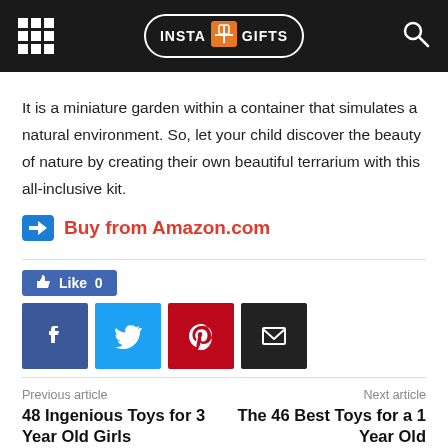INSTA GIFTS
It is a miniature garden within a container that simulates a natural environment. So, let your child discover the beauty of nature by creating their own beautiful terrarium with this all-inclusive kit.
Buy from Amazon.com
[Figure (infographic): Social sharing buttons: Like 0 (Facebook), Facebook share, Twitter share, Pinterest share, Email share]
Previous article
48 Ingenious Toys for 3 Year Old Girls
Next article
The 46 Best Toys for a 1 Year Old